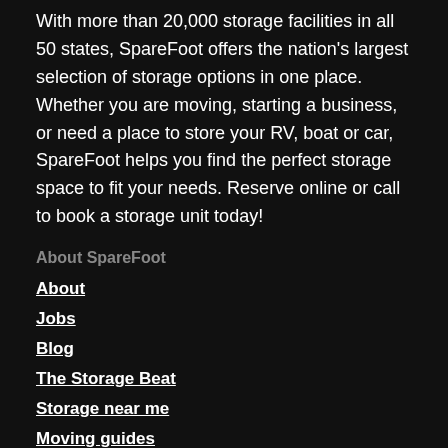With more than 20,000 storage facilities in all 50 states, SpareFoot offers the nation's largest selection of storage options in one place. Whether you are moving, starting a business, or need a place to store your RV, boat or car, SpareFoot helps you find the perfect storage space to fit your needs. Reserve online or call to book a storage unit today!
About SpareFoot
About
Jobs
Blog
The Storage Beat
Storage near me
Moving guides
Terms of use
Privacy policy